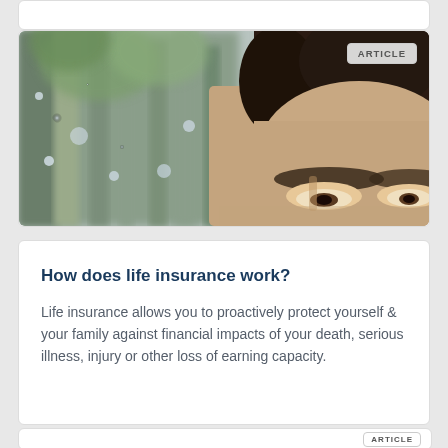[Figure (photo): Close-up photo of a person's face partially visible (top half) against a blurred forest/rain background, with an ARTICLE badge overlay in top-right corner]
How does life insurance work?
Life insurance allows you to proactively protect yourself & your family against financial impacts of your death, serious illness, injury or other loss of earning capacity.
[Figure (other): White card with ARTICLE badge in bottom-right corner]